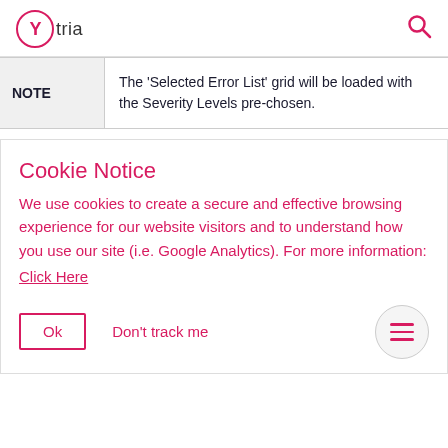Ytria [logo] [search icon]
| NOTE |  |
| --- | --- |
| NOTE | The 'Selected Error List' grid will be loaded with the Severity Levels pre-chosen. |
Cookie Notice
We use cookies to create a secure and effective browsing experience for our website visitors and to understand how you use our site (i.e. Google Analytics). For more information:
Click Here
Ok   Don't track me